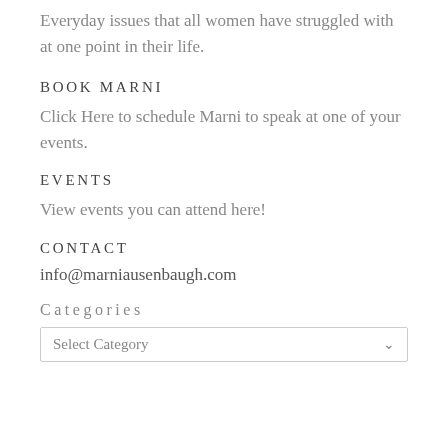Everyday issues that all women have struggled with at one point in their life.
BOOK MARNI
Click Here to schedule Marni to speak at one of your events.
EVENTS
View events you can attend here!
CONTACT
info@marniausenbaugh.com
Categories
Select Category